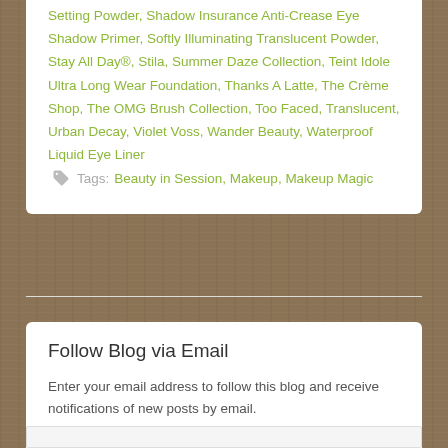Setting Powder, Shadow Insurance Anti-Crease Eye Shadow Primer, Softly Illuminating Translucent Powder, Stay All Day®, Stila, Summer Daze Collection, Teint Idole Ultra Long Wear Foundation, Thanks A Latte, The Crème Shop, The OMG Brush Collection, Too Faced, Translucent, Urban Decay, Violet Voss, Wander Beauty, Waterproof Liquid Eye Liner   Tags: Beauty in Session, Makeup, Makeup Magic
Follow Blog via Email
Enter your email address to follow this blog and receive notifications of new posts by email.